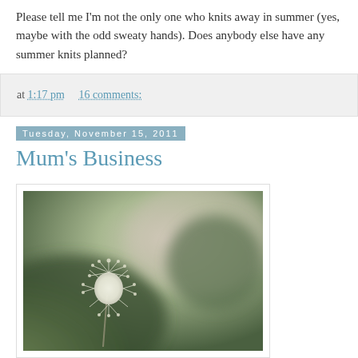Please tell me I'm not the only one who knits away in summer (yes, maybe with the odd sweaty hands). Does anybody else have any summer knits planned?
at 1:17 pm    16 comments:
Tuesday, November 15, 2011
Mum's Business
[Figure (photo): Close-up photograph of a fluffy white seed head (bunny tail grass) on a blurred green and beige bokeh background]
Hello! Just a quick post today to let you know that I'm writing